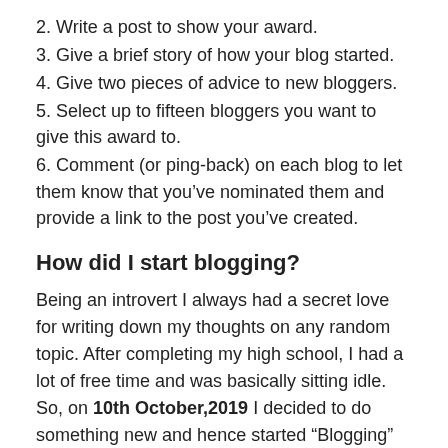2. Write a post to show your award.
3. Give a brief story of how your blog started.
4. Give two pieces of advice to new bloggers.
5. Select up to fifteen bloggers you want to give this award to.
6. Comment (or ping-back) on each blog to let them know that you’ve nominated them and provide a link to the post you’ve created.
How did I start blogging?
Being an introvert I always had a secret love for writing down my thoughts on any random topic. After completing my high school, I had a lot of free time and was basically sitting idle. So, on 10th October,2019 I decided to do something new and hence started “Blogging” which was a totally new concept for me.